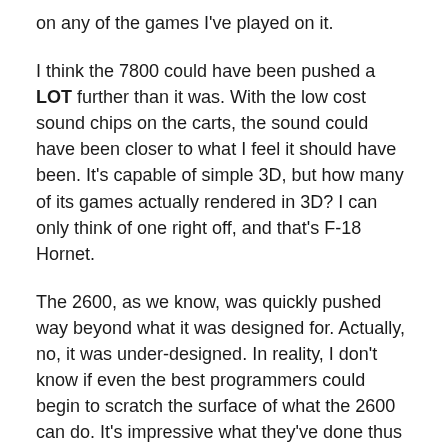on any of the games I've played on it.
I think the 7800 could have been pushed a LOT further than it was. With the low cost sound chips on the carts, the sound could have been closer to what I feel it should have been. It's capable of simple 3D, but how many of its games actually rendered in 3D? I can only think of one right off, and that's F-18 Hornet.
The 2600, as we know, was quickly pushed way beyond what it was designed for. Actually, no, it was under-designed. In reality, I don't know if even the best programmers could begin to scratch the surface of what the 2600 can do. It's impressive what they've done thus far, but I think it's hard to say exactly what capabilities are locked away inside that oddly shaped faux-woodgrain box. There's the Supercharger to expand the RAM, and there's David Crane to build whatever chip he wants to make the